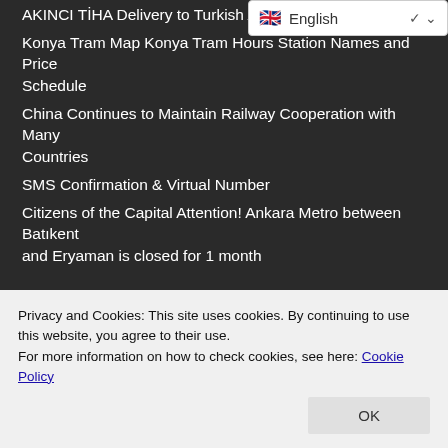AKINCI TİHA Delivery to Turkish Air Force
Konya Tram Map Konya Tram Hours Station Names and Price Schedule
China Continues to Maintain Railway Cooperation with Many Countries
SMS Confirmation & Virtual Number
Citizens of the Capital Attention! Ankara Metro between Batıkent and Eryaman is closed for 1 month
OUR SITES
SUCUDO → RayHaber → TeleferikHaber → OtonomHaber → RaillyNews → OptimumPhysics → AutonoumNews → BlauBahn → ArabRailNews → OptimumPhysics → KimyaHaberleri →
Privacy and Cookies: This site uses cookies. By continuing to use this website, you agree to their use.
For more information on how to check cookies, see here: Cookie Policy